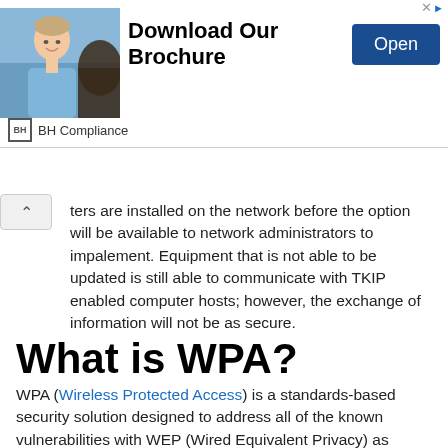[Figure (screenshot): Advertisement banner: photo of a smiling man in a light blue shirt, with text 'Download Our Brochure', an 'Open' button, and 'BH Compliance' brand label below.]
ters are installed on the network before the option will be available to network administrators to impalement. Equipment that is not able to be updated is still able to communicate with TKIP enabled computer hosts; however, the exchange of information will not be as secure.
What is WPA?
WPA (Wireless Protected Access) is a standards-based security solution designed to address all of the known vulnerabilities with WEP (Wired Equivalent Privacy) as defined in the original IEEE 802.11 implementation. WPA is designed to provide improved access control and enhanced data protection. WPA can be implemented at both the home office or enterprise level, and has been incorporated into most major networking hardware sold on the market.